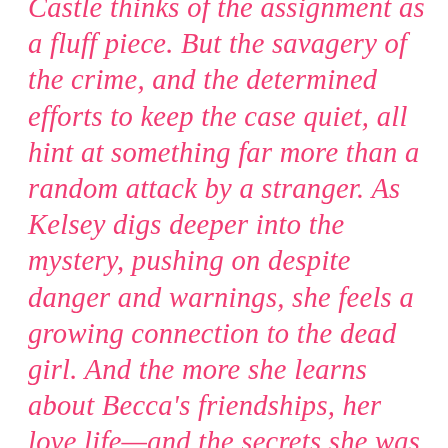Castle thinks of the assignment as a fluff piece. But the savagery of the crime, and the determined efforts to keep the case quiet, all hint at something far more than a random attack by a stranger. As Kelsey digs deeper into the mystery, pushing on despite danger and warnings, she feels a growing connection to the dead girl. And the more she learns about Becca's friendships, her love life—and the secrets she was keeping—the more convinced she becomes that learning the truth about Becca could be the key to overcoming her own dark past...